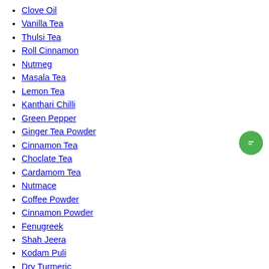Clove Oil
Vanilla Tea
Thulsi Tea
Roll Cinnamon
Nutmeg
Masala Tea
Lemon Tea
Kanthari Chilli
Green Pepper
Ginger Tea Powder
Cinnamon Tea
Choclate Tea
Cardamom Tea
Nutmace
Coffee Powder
Cinnamon Powder
Fenugreek
Shah Jeera
Kodam Puli
Dry Turmeric
Asafotida Powder
Green Coffee Beans
Star Anise
Jeera
Bay Leaf